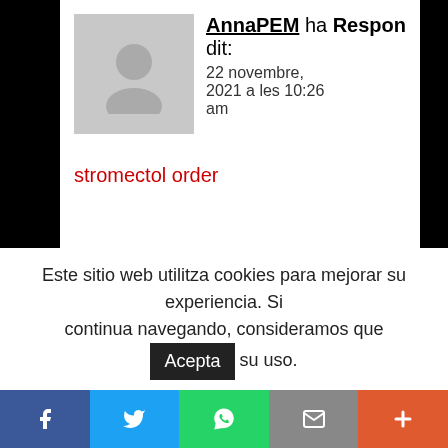AnnaPEM ha dit: 22 novembre, 2021 a les 10:26 am — Respon
stromectol order
ZakPEM ha dit: 22 novembre, 2021 a les 11:55 am — Respon
generic sildenafil citrate
Este sitio web utilitza cookies para mejorar su experiencia. Si continua navegando, consideramos que Acepta su uso.